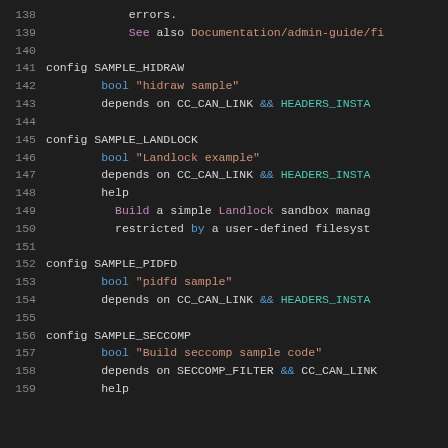[Figure (screenshot): Source code viewer showing lines 138-159 of a Linux kernel Kconfig file with syntax highlighting. Dark background with colored tokens. Shows config entries for SAMPLE_HIDRAW, SAMPLE_LANDLOCK, SAMPLE_PIDFD, and SAMPLE_SECCOMP.]